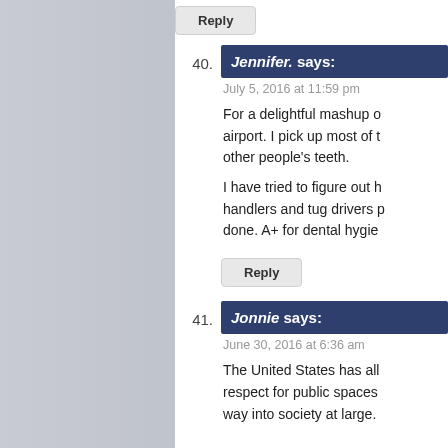Reply
40. Jennifer. says:
July 5, 2016 at 11:59 pm
For a delightful mashup o... airport. I pick up most of t... other people's teeth.
I have tried to figure out h... handlers and tug drivers p... done. A+ for dental hygie...
Reply
41. Jonnie says:
June 30, 2016 at 6:36 am
The United States has all... respect for public spaces... way into society at large.